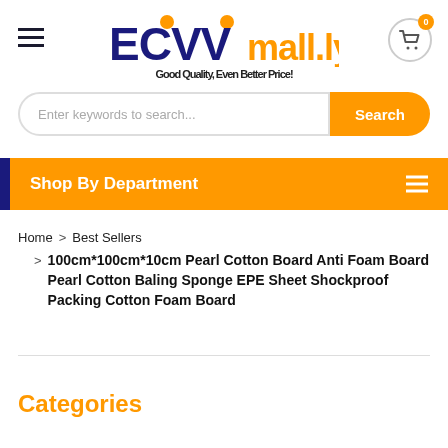[Figure (logo): ECVVmall.ly logo with orange dots above letters and tagline 'Good Quality, Even Better Price!']
Enter keywords to search...
Shop By Department
Home > Best Sellers > 100cm*100cm*10cm Pearl Cotton Board Anti Foam Board Pearl Cotton Baling Sponge EPE Sheet Shockproof Packing Cotton Foam Board
Categories